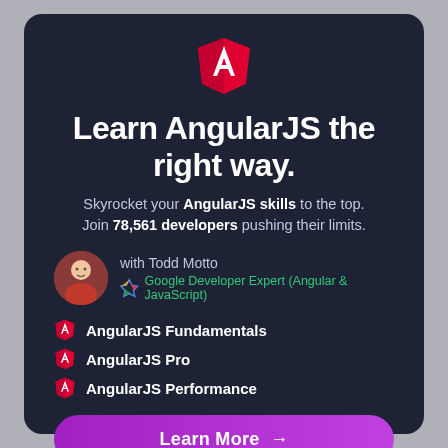[Figure (logo): Angular shield logo in red with white A]
Learn AngularJS the right way.
Skyrocket your AngularJS skills to the top. Join 78,561 developers pushing their limits.
[Figure (photo): Circular photo of Todd Motto with Angular logo and Google Developer Expert (Angular & JavaScript) text]
AngularJS Fundamentals
AngularJS Pro
AngularJS Performance
Learn More →